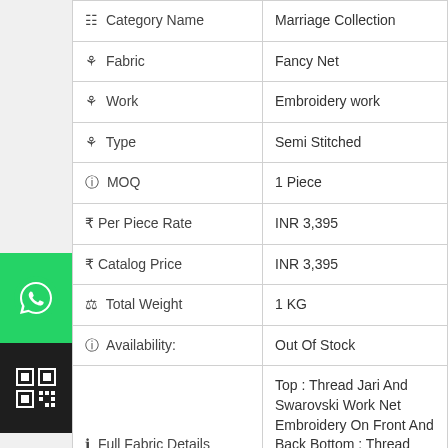| Property | Value |
| --- | --- |
| Category Name | Marriage Collection |
| Fabric | Fancy Net |
| Work | Embroidery work |
| Type | Semi Stitched |
| MOQ | 1 Piece |
| Per Piece Rate | INR 3,395 |
| Catalog Price | INR 3,395 |
| Total Weight | 1 KG |
| Availability: | Out Of Stock |
| Full Fabric Details | Top : Thread Jari And Swarovski Work Net Embroidery On Front And Back Bottom : Thread Jari And Swarovski Work Net Embroidery On Front And Back |